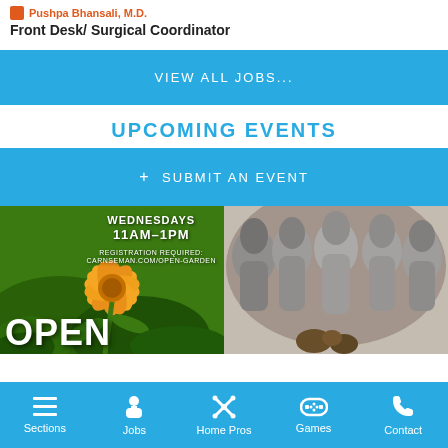Pushpa Bhansali, M.D.
Front Desk/ Surgical Coordinator
VIEW ALL JOBS...
UPCOMING EVENTS
+ SUBMIT AN EVENT
[Figure (photo): Orange flower with text overlay: WEDNESDAYS 11AM-1PM, REGISTRATION REQUIRED, and OPEN in large letters]
[Figure (photo): Black and white artistic image of multiple figures/faces]
Sections | Jobs | Home Pros | Games | Contact